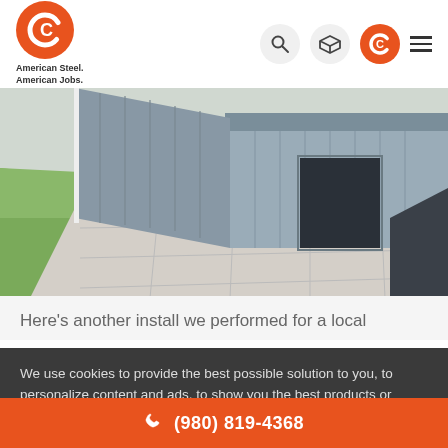American Steel. American Jobs.
[Figure (photo): Aerial/perspective view of a metal steel building installation with concrete driveway and green grass surroundings]
Here’s another install we performed for a local
We use cookies to provide the best possible solution to you, to personalize content and ads, to show you the best products or services you’re looking for. For more details visit Privacy Policy.
OK, THANKS
10’ lean-to, you’ll see there’s...
(980) 819-4368